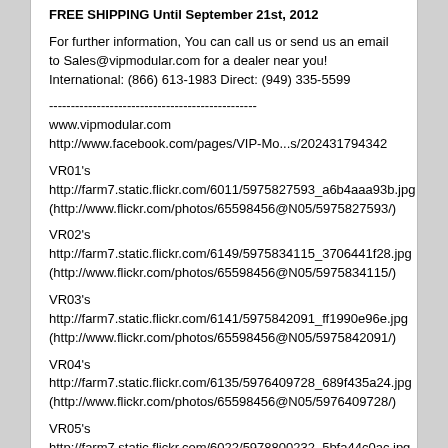FREE SHIPPING Until September 21st, 2012
For further information, You can call us or send us an email to Sales@vipmodular.com for a dealer near you!
International: (866) 613-1983 Direct: (949) 335-5599
------------------------------------------------
www.vipmodular.com
http://www.facebook.com/pages/VIP-Mo...s/202431794342
VR01's
http://farm7.static.flickr.com/6011/5975827593_a6b4aaa93b.jpg
(http://www.flickr.com/photos/65598456@N05/5975827593/)
VR02's
http://farm7.static.flickr.com/6149/5975834115_3706441f28.jpg
(http://www.flickr.com/photos/65598456@N05/5975834115/)
VR03's
http://farm7.static.flickr.com/6141/5975842091_ff1990e96e.jpg
(http://www.flickr.com/photos/65598456@N05/5975842091/)
VR04's
http://farm7.static.flickr.com/6135/5976409728_689f435a24.jpg
(http://www.flickr.com/photos/65598456@N05/5976409728/)
VR05's
http://farm7.static.flickr.com/6022/5978800232_5bfa44c0ac.jpg
(http://www.flickr.com/photos/65598456@N05/5978800232/)
VR06's
http://farm7.static.flickr.com/6022/5978807158_4f03e5d8fe.jpg
(http://www.flickr.com/photos/65598456@N05/5978807158/)
VR07's
http://farm7.static.flickr.com/6025/5978812048_5471923899.jpg
(http://www.flickr.com/photos/65598456@N05/5978812048/)